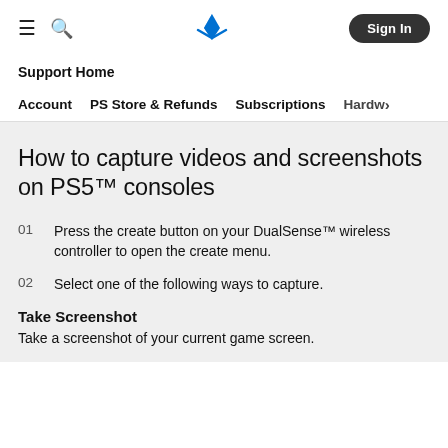PlayStation Support
Support Home
Account   PS Store & Refunds   Subscriptions   Hardw>
How to capture videos and screenshots on PS5™ consoles
01  Press the create button on your DualSense™ wireless controller to open the create menu.
02  Select one of the following ways to capture.
Take Screenshot
Take a screenshot of your current game screen.